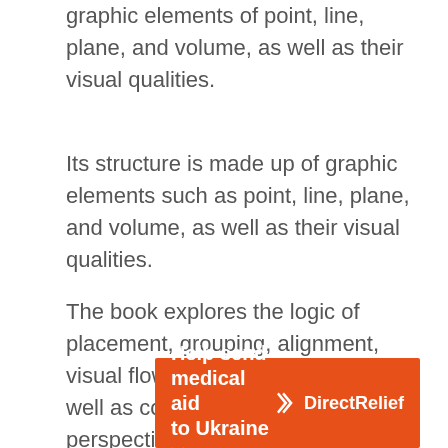graphic elements of point, line, plane, and volume, as well as their visual qualities.
Its structure is made up of graphic elements such as point, line, plane, and volume, as well as their visual qualities.
The book explores the logic of placement, grouping, alignment, visual flow, and spatial divisions, as well as color harmonies, via this perspective. Students are given visual demonstrations of these principles that progress from basic concept layouts to appealing, complicated compositions. The text has been updated with fresh graphics and drawings, as well as additional content to ensure that it is current and relevant.
[Figure (infographic): Orange advertisement banner for DirectRelief: 'Help send medical aid to Ukraine >>' with DirectRelief logo (white bird icon and 'DirectRelief' text) on the right side.]